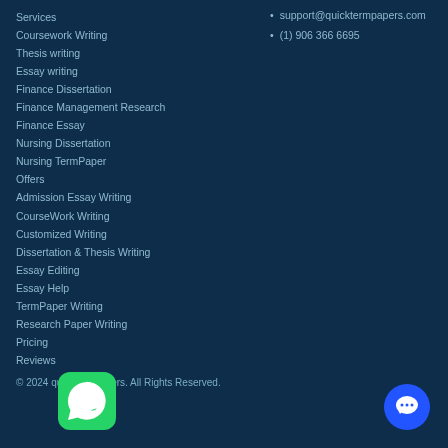Services
Coursework Writing
Thesis writing
Essay writing
Finance Dissertation
Finance Management Research
Finance Essay
Nursing Dissertation
Nursing TermPaper
Offers
Admission Essay Writing
CourseWork Writing
Customized Writing
Dissertation & Thesis Writing
Essay Editing
Essay Help
TermPaper Writing
Research Paper Writing
Pricing
Reviews
support@quicktermpapers.com
(1) 906 366 6695
© 2024 quicktermpapers. All Rights Reserved.
[Figure (logo): WhatsApp icon - green rounded square with white phone handset]
[Figure (illustration): Blue circular chat/message button]